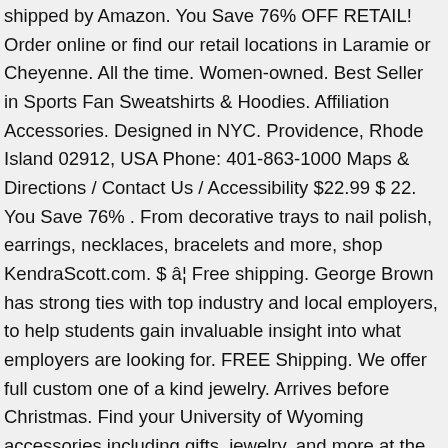shipped by Amazon. You Save 76% OFF RETAIL! Order online or find our retail locations in Laramie or Cheyenne. All the time. Women-owned. Best Seller in Sports Fan Sweatshirts & Hoodies. Affiliation Accessories. Designed in NYC. Providence, Rhode Island 02912, USA Phone: 401-863-1000 Maps & Directions / Contact Us / Accessibility $22.99 $ 22. You Save 76% . From decorative trays to nail polish, earrings, necklaces, bracelets and more, shop KendraScott.com. $ â¦ Free shipping. George Brown has strong ties with top industry and local employers, to help students gain invaluable insight into what employers are looking for. FREE Shipping. We offer full custom one of a kind jewelry. Arrives before Christmas. Find your University of Wyoming accessories including gifts, jewelry, and more at the online store of University of Wyoming. Retail Price: $49.95. Linda Brown is a Assistant Professor at Bemidji State University, teaching Jewelry and Metals and Sculpture. ($37.95) Brown University Bears Gold Pave Heart Charm Bracelet. Rhode Island School of Design. GBC is the pre-eminent jewellery school in North America - â¦ Brown University. University News: